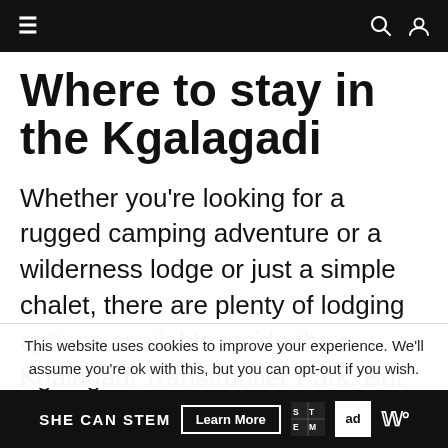≡  🔍 👤
Where to stay in the Kgalagadi
Whether you're looking for a rugged camping adventure or a wilderness lodge or just a simple chalet, there are plenty of lodging options available inside the Kgalagadi Transfrontier Park. But they tend to book up far in advance. Many of the
This website uses cookies to improve your experience. We'll assume you're ok with this, but you can opt-out if you wish.
SHE CAN STEM  Learn More  [STEM logo] [ad council logo]